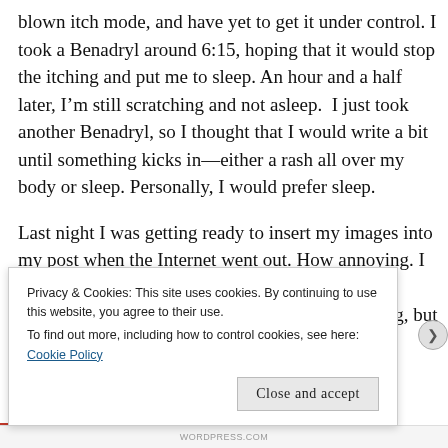blown itch mode, and have yet to get it under control. I took a Benadryl around 6:15, hoping that it would stop the itching and put me to sleep. An hour and a half later, I'm still scratching and not asleep.  I just took another Benadryl, so I thought that I would write a bit until something kicks in—either a rash all over my body or sleep. Personally, I would prefer sleep.
Last night I was getting ready to insert my images into my post when the Internet went out. How annoying. I finally wrote a post (of sorts), and then couldn't publish it. I was this close: formatted, quotes, song, but then bam. No
Privacy & Cookies: This site uses cookies. By continuing to use this website, you agree to their use.
To find out more, including how to control cookies, see here: Cookie Policy
Close and accept